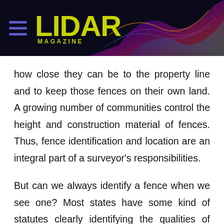LIDAR MAGAZINE
how close they can be to the property line and to keep those fences on their own land. A growing number of communities control the height and construction material of fences. Thus, fence identification and location are an integral part of a surveyor's responsibilities.
But can we always identify a fence when we see one? Most states have some kind of statutes clearly identifying the qualities of animal-tight fences, including descriptions of how many wires, how high, and the general materials acceptable. In some instances certain kinds of ditch construction serve as fencing. A recent case in New Jersey